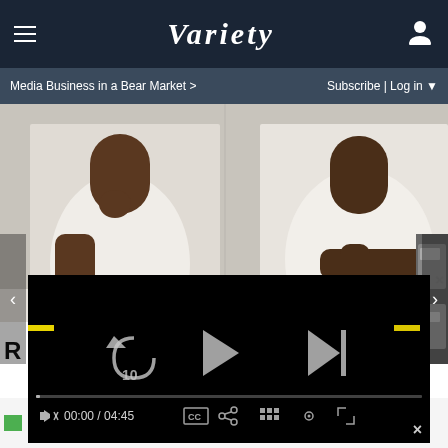VARIETY — Media Business in a Bear Market > | Subscribe | Log in
[Figure (photo): Two people in white outfits seated at a table, a video player overlay with controls showing 00:00 / 04:45]
R
00:00 / 04:45